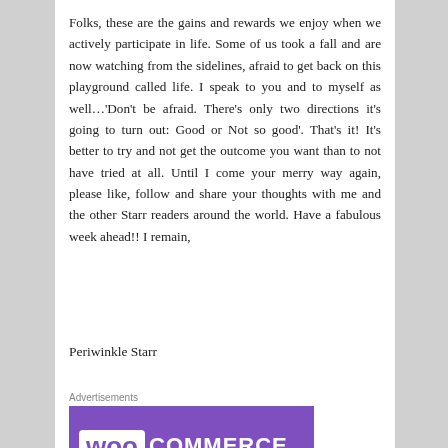Folks, these are the gains and rewards we enjoy when we actively participate in life. Some of us took a fall and are now watching from the sidelines, afraid to get back on this playground called life. I speak to you and to myself as well…'Don't be afraid. There's only two directions it's going to turn out: Good or Not so good'. That's it! It's better to try and not get the outcome you want than to not have tried at all. Until I come your merry way again, please like, follow and share your thoughts with me and the other Starr readers around the world. Have a fabulous week ahead!! I remain,
Periwinkle Starr
Advertisements
[Figure (logo): WooCommerce logo on purple background]
Advertisements